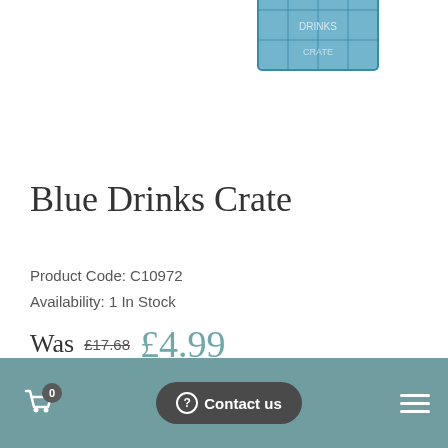[Figure (photo): Partial view of a blue drinks crate product image, cropped at top of page]
Blue Drinks Crate
Product Code: C10972
Availability: 1 In Stock
Was £17.68 £4.99
0  Contact us